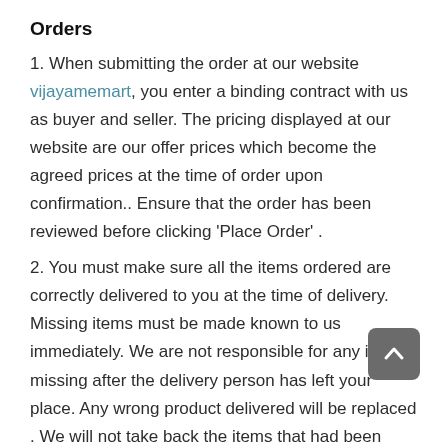Orders
1. When submitting the order at our website vijayamemart, you enter a binding contract with us as buyer and seller. The pricing displayed at our website are our offer prices which become the agreed prices at the time of order upon confirmation.. Ensure that the order has been reviewed before clicking ‘Place Order’ .
2. You must make sure all the items ordered are correctly delivered to you at the time of delivery. Missing items must be made known to us immediately. We are not responsible for any item missing after the delivery person has left your place. Any wrong product delivered will be replaced . We will not take back the items that had been delivered in good condition.
3. Placing an order involves many operations Cancellation or Withdrawal is not allowed once the order